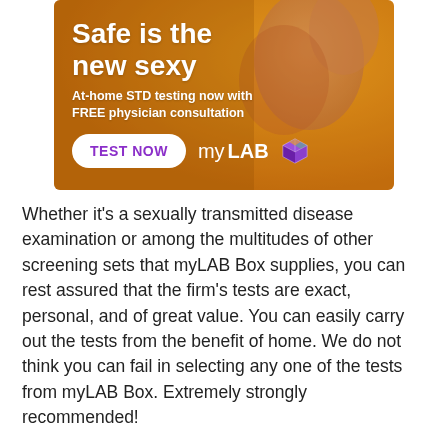[Figure (illustration): myLAB Box advertisement banner with warm amber/orange background showing a couple in an intimate pose. Headline: 'Safe is the new sexy'. Subtext: 'At-home STD testing now with FREE physician consultation'. Button: 'TEST NOW'. Brand logo: 'myLAB Box' with a cube icon.]
Whether it's a sexually transmitted disease examination or among the multitudes of other screening sets that myLAB Box supplies, you can rest assured that the firm's tests are exact, personal, and of great value. You can easily carry out the tests from the benefit of home. We do not think you can fail in selecting any one of the tests from myLAB Box. Extremely strongly recommended!